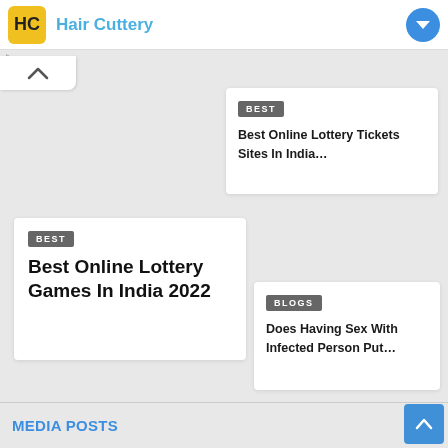[Figure (logo): Hair Cuttery advertisement banner with yellow logo, brand name in blue, and blue arrow icon]
▷
×
[Figure (illustration): Collapse/chevron up tab button]
BEST
Best Online Lottery Tickets Sites In India...
BEST
Best Online Lottery Games In India 2022
BLOGS
Does Having Sex With Infected Person Put...
MEDIA POSTS